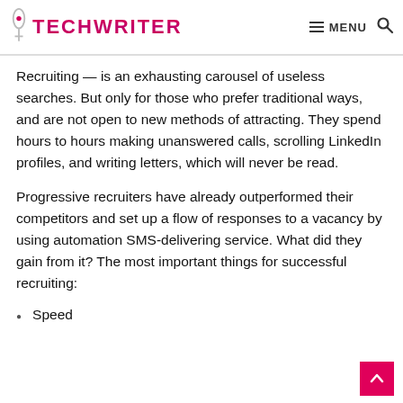TECHWRITER — MENU (search icon)
Recruiting — is an exhausting carousel of useless searches. But only for those who prefer traditional ways, and are not open to new methods of attracting. They spend hours to hours making unanswered calls, scrolling LinkedIn profiles, and writing letters, which will never be read.
Progressive recruiters have already outperformed their competitors and set up a flow of responses to a vacancy by using automation SMS-delivering service. What did they gain from it? The most important things for successful recruiting:
Speed